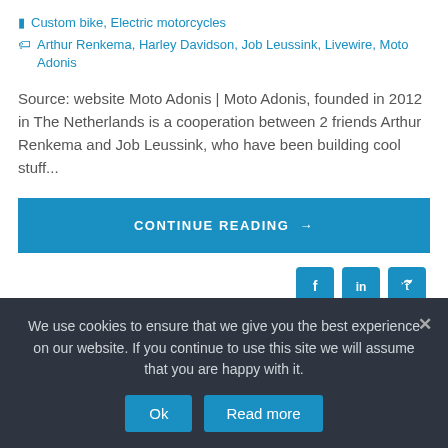Custom bike, Electric motorcycles
Arthur Renkema, Harley Davidson, Job Leussink, Livewire, Moto Adonis
Source: website Moto Adonis | Moto Adonis, founded in 2012 in The Netherlands is a cooperation between 2 friends Arthur Renkema and Job Leussink, who have been building cool stuff...
CONTINUE READING →
[Figure (other): Social sharing icons: Facebook, LinkedIn, Twitter]
We use cookies to ensure that we give you the best experience on our website. If you continue to use this site we will assume that you are happy with it.